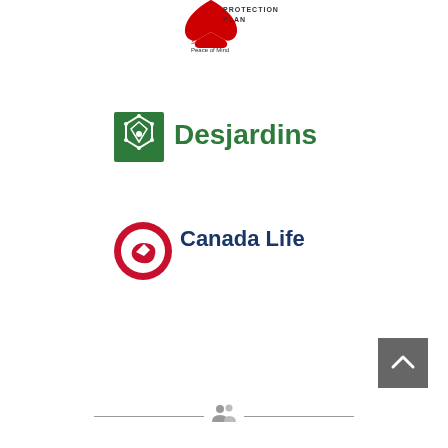[Figure (logo): Protection Plan logo with red wing/hand graphic and text 'Simply Peace of Mind' - partially visible at top of page]
[Figure (logo): Desjardins logo: green hexagon emblem with fleur-de-lis pattern beside green 'Desjardins' wordmark]
[Figure (logo): Canada Life logo: red and white circular globe icon beside dark blue 'Canada Life' wordmark]
[Figure (other): Grey scroll-to-top button with upward chevron arrow, positioned bottom right]
[Figure (other): Footer divider with horizontal lines and people/user icon in center]